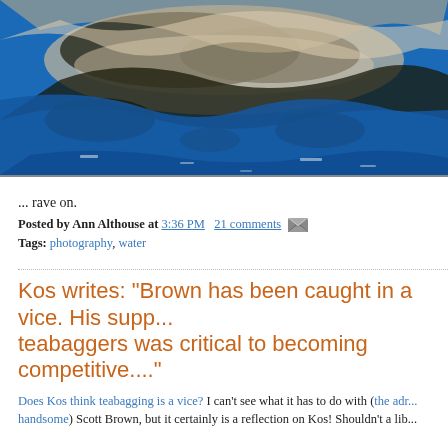[Figure (photo): Abstract photograph of blue water with dark rippling reflections creating swirling black, white and tan patterns on a bright blue water surface.]
... rave on.
Posted by Ann Althouse at 3:36 PM   21 comments
Tags: photography, water
Kos writes: "Brown has been caught in a vice. His supp... teabaggers was critical to becoming competitive...."
Does Kos think teabagging is a vice? I can't see what it has to do with (the adr... handsome) Scott Brown, but it certainly is a reflection on Kos! Shouldn't a lib...